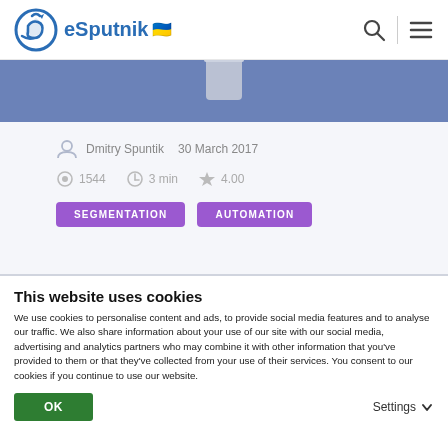eSputnik
[Figure (illustration): eSputnik logo with circular arrow icon in blue and Ukrainian heart flag emoji, plus search and hamburger menu icons in header]
[Figure (illustration): Blue banner with grey/white snowflake/asterisk decorative element]
Dmitry Spuntik   30 March 2017
1544   3 min   4.00
SEGMENTATION   AUTOMATION
This website uses cookies
We use cookies to personalise content and ads, to provide social media features and to analyse our traffic. We also share information about your use of our site with our social media, advertising and analytics partners who may combine it with other information that you've provided to them or that they've collected from your use of their services. You consent to our cookies if you continue to use our website.
OK
Settings